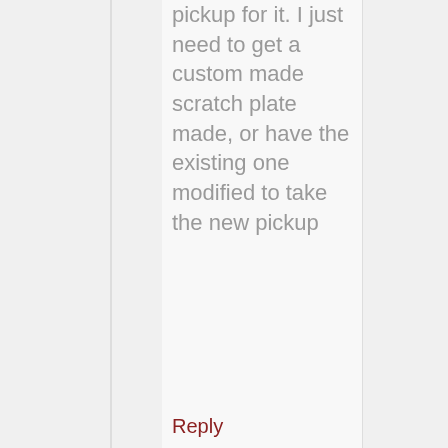pickup for it. I just need to get a custom made scratch plate made, or have the existing one modified to take the new pickup
Reply